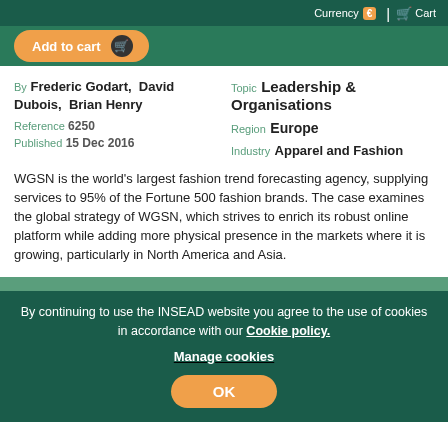Currency € | Cart
Add to cart
By Frederic Godart, David Dubois, Brian Henry
Reference 6250
Published 15 Dec 2016
Topic Leadership & Organisations
Region Europe
Industry Apparel and Fashion
WGSN is the world's largest fashion trend forecasting agency, supplying services to 95% of the Fortune 500 fashion brands. The case examines the global strategy of WGSN, which strives to enrich its robust online platform while adding more physical presence in the markets where it is growing, particularly in North America and Asia.
By continuing to use the INSEAD website you agree to the use of cookies in accordance with our Cookie policy.
Manage cookies
OK